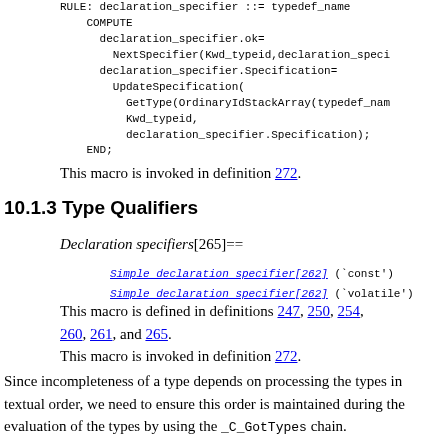RULE: declaration_specifier ::= typedef_name
COMPUTE
  declaration_specifier.ok=
    NextSpecifier(Kwd_typeid,declaration_speci
  declaration_specifier.Specification=
    UpdateSpecification(
      GetType(OrdinaryIdStackArray(typedef_nam
      Kwd_typeid,
      declaration_specifier.Specification);
END;
This macro is invoked in definition 272.
10.1.3 Type Qualifiers
Declaration specifiers[265]==
Simple declaration specifier[262] (`const')
Simple declaration specifier[262] (`volatile')
This macro is defined in definitions 247, 250, 254, 260, 261, and 265.
This macro is invoked in definition 272.
Since incompleteness of a type depends on processing the types in textual order, we need to ensure this order is maintained during the evaluation of the types by using the _C_GotTypes chain.